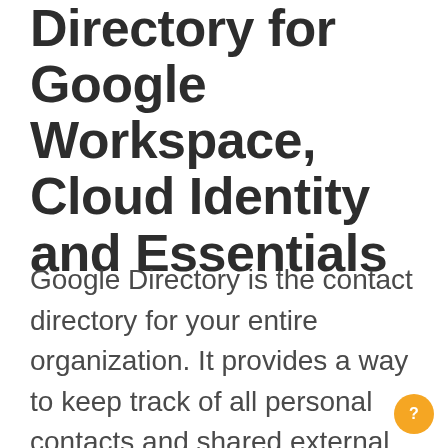Directory for Google Workspace, Cloud Identity and Essentials
Google Directory is the contact directory for your entire organization. It provides a way to keep track of all personal contacts and shared external contacts while also controlling what profiles they can see on Google Apps. You might want to disable Directory (turn off contact sharing) if you're using